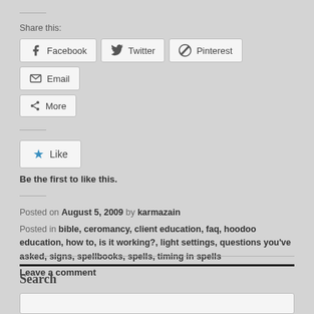Share this:
Facebook  Twitter  Pinterest  Email  More
Like
Be the first to like this.
Posted on August 5, 2009 by karmazain
Posted in bible, ceromancy, client education, faq, hoodoo education, how to, is it working?, light settings, questions you've asked, signs, spellbooks, spells, timing in spells
Leave a comment